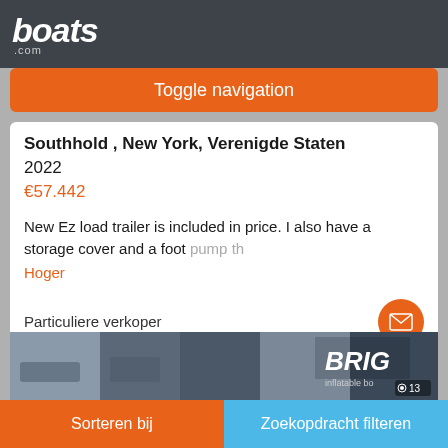boats.com
Toggle navigation
Southhold , New York, Verenigde Staten
2022
€57.442
New Ez load trailer is included in price. I also have a storage cover and a foot pump th…
Hoger
Particuliere verkoper
[Figure (photo): Photo strip showing boats, BRIG inflatable boat branding, 13 photos indicated]
Sorteren bij    Zoekopdracht filteren